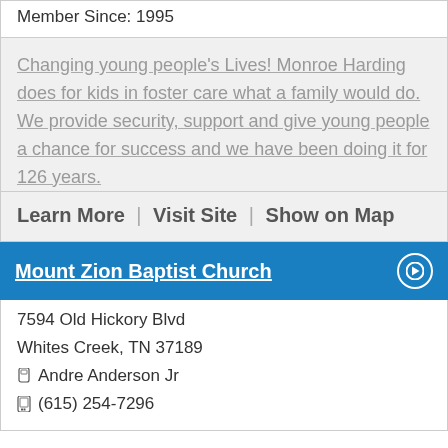Member Since: 1995
Changing young people's Lives! Monroe Harding does for kids in foster care what a family would do. We provide security, support and give young people a chance for success and we have been doing it for 126 years.
Learn More | Visit Site | Show on Map
Mount Zion Baptist Church
7594 Old Hickory Blvd
Whites Creek, TN 37189
Andre Anderson Jr
(615) 254-7296